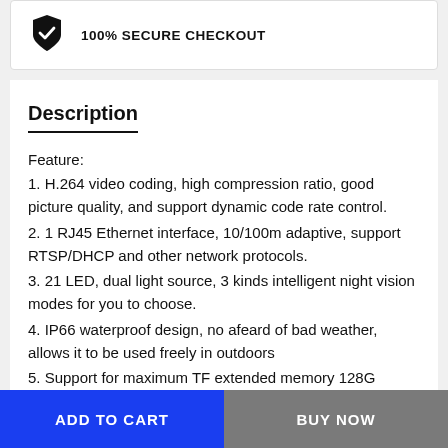[Figure (logo): Shield icon with checkmark inside, representing secure checkout]
100% SECURE CHECKOUT
Description
Feature:
1. H.264 video coding, high compression ratio, good picture quality, and support dynamic code rate control.
2. 1 RJ45 Ethernet interface, 10/100m adaptive, support RTSP/DHCP and other network protocols.
3. 21 LED, dual light source, 3 kinds intelligent night vision modes for you to choose.
4. IP66 waterproof design, no afeard of bad weather, allows it to be used freely in outdoors
5. Support for maximum TF extended memory 128G
ADD TO CART
BUY NOW